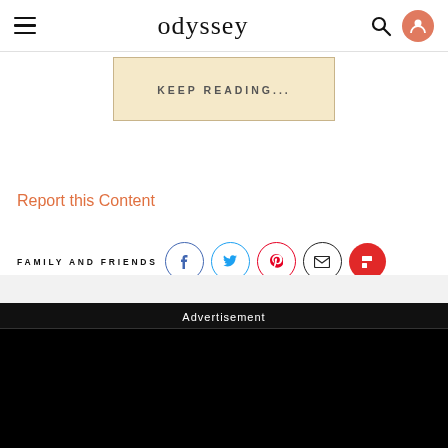odyssey
KEEP READING...
Report this Content
FAMILY AND FRIENDS
Advertisement